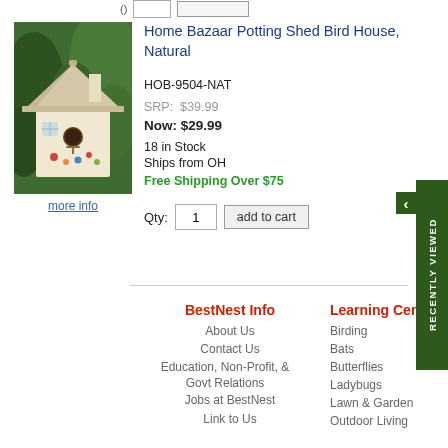[Figure (photo): Birdhouse product image - Home Bazaar Potting Shed Bird House, Natural, a white wooden birdhouse with small flower decorations against a green foliage background]
more info
Home Bazaar Potting Shed Bird House, Natural
HOB-9504-NAT
SRP:  $39.99
Now: $29.99
18 in Stock
Ships from OH
Free Shipping Over $75
Qty:  1  add to cart
BestNest Info
About Us
Contact Us
Education, Non-Profit, & Govt Relations
Jobs at BestNest
Link to Us
Learning Center
Birding
Bats
Butterflies
Ladybugs
Lawn & Garden
Outdoor Living